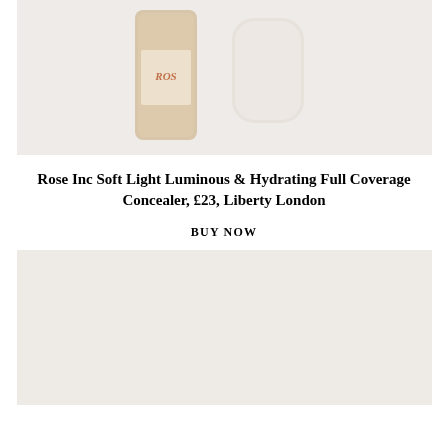[Figure (photo): Two Rose Inc cosmetic products on a light beige/cream background: a tall narrow concealer bottle with 'ROS' visible on label, and a rounded rectangular compact/case in pale pink-white.]
Rose Inc Soft Light Luminous & Hydrating Full Coverage Concealer, £23, Liberty London
BUY NOW
[Figure (photo): Light beige/cream colored background, bottom product image area, largely empty/plain.]